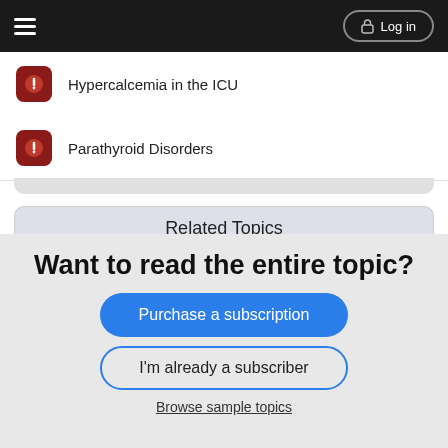Log in
Hypercalcemia in the ICU
Parathyroid Disorders
Related Topics
cefmetazole
cefamandole
Parathyroid Disorders
Want to read the entire topic?
Purchase a subscription
I'm already a subscriber
Browse sample topics